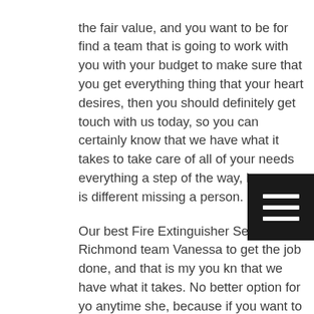the fair value, and you want to be for find a team that is going to work with you with your budget to make sure that you get everything thing that your heart desires, then you should definitely get touch with us today, so you can certainly know that we have what it takes to take care of all of your needs everything a step of the way, because is different missing a person.
Our best Fire Extinguisher Service Richmond team Vanessa to get the job done, and that is my you kn that we have what it takes. No better option for yo anytime she, because if you want to fire a solution really is great for you, then this is definitely for you. We disasters and we happy to make sure that the best fire protection out there. We would even the for you to test. We have a fire protection service that is absolutely free. Sorry to Christmas, and if you sexy, you need to use services today, because there's really no better service in the entire industry, and that is what